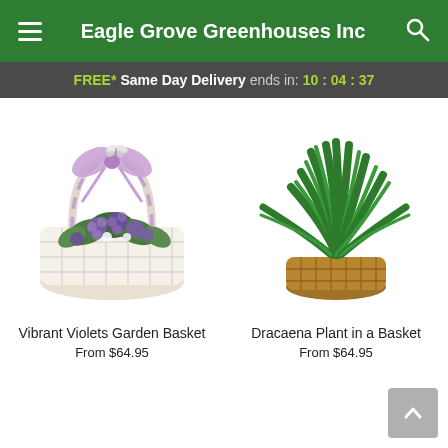Eagle Grove Greenhouses Inc
FREE* Same Day Delivery ends in: 10:04:37
[Figure (photo): Vibrant Violets Garden Basket: a white wicker basket with purple ribbon bow and butterfly ornament, filled with purple African violets and green foliage]
Vibrant Violets Garden Basket
From $64.95
[Figure (photo): Dracaena Plant in a Basket: a lush green dracaena plant in a natural wicker/brown basket]
Dracaena Plant in a Basket
From $64.95